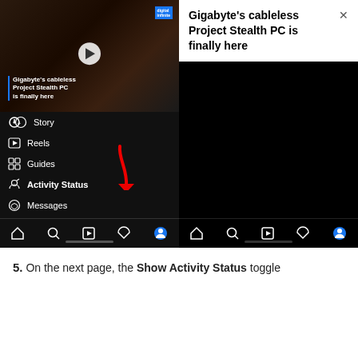[Figure (screenshot): Two side-by-side Instagram mobile app screenshots on a dark background. Left screenshot shows a video thumbnail of 'Gigabyte's cableless Project Stealth PC is finally here' with a menu below listing Story, Reels, Guides, Activity Status (with red arrow pointing to it), Messages, Connections, Restricted Accounts, and a bottom nav bar. Right screenshot shows a white notification popup saying 'Gigabyte's cableless Project Stealth PC is finally here' with a dark screen below and bottom nav bar.]
5. On the next page, the Show Activity Status toggle